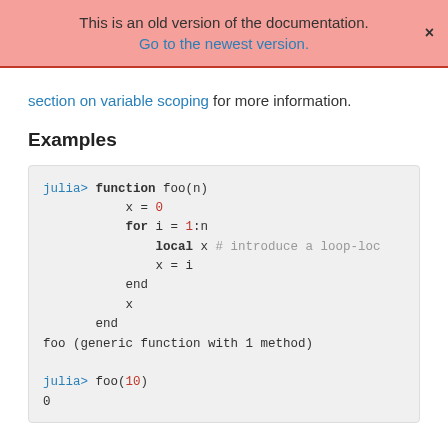This is an old version of the documentation.
Go to the newest version.
section on variable scoping for more information.
Examples
julia> function foo(n)
           x = 0
           for i = 1:n
               local x # introduce a loop-loc
               x = i
           end
           x
       end
foo (generic function with 1 method)

julia> foo(10)
0